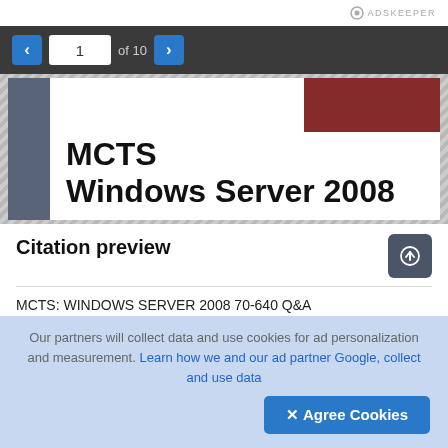[Figure (screenshot): AdsKeeper logo in top right corner]
[Figure (screenshot): Navigation bar with previous/next buttons and page 1 of 10 indicator]
[Figure (illustration): Book cover preview showing MCTS Windows Server 2008 with blue spine and dark red block in top right]
Citation preview
MCTS: WINDOWS SERVER 2008 70-640 Q&A
Our partners will collect data and use cookies for ad personalization and measurement. Learn how we and our ad partner Google, collect and use data
✕ Agree Cookies